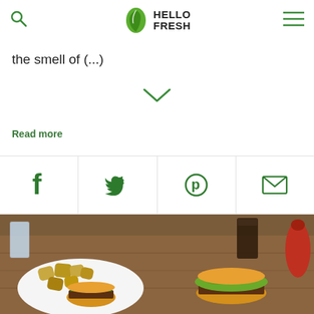HELLO FRESH
the smell of (...)
Read more
[Figure (infographic): Social media sharing icons: Facebook (f), Twitter (bird), Pinterest (p), Email (envelope) — each in green on white background in a 4-cell grid]
[Figure (photo): Two food photos side by side: left shows roasted potato chunks and a burger on a plate with a glass of water; right shows a burger with greens and a dark drink glass with a red pepper mill]